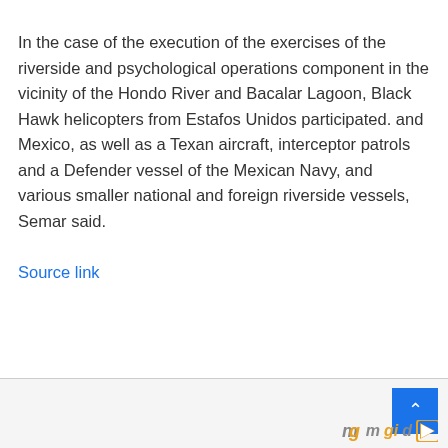In the case of the execution of the exercises of the riverside and psychological operations component in the vicinity of the Hondo River and Bacalar Lagoon, Black Hawk helicopters from Estafos Unidos participated. and Mexico, as well as a Texan aircraft, interceptor patrols and a Defender vessel of the Mexican Navy, and various smaller national and foreign riverside vessels, Semar said.
Source link
PROMOTED CONTENT